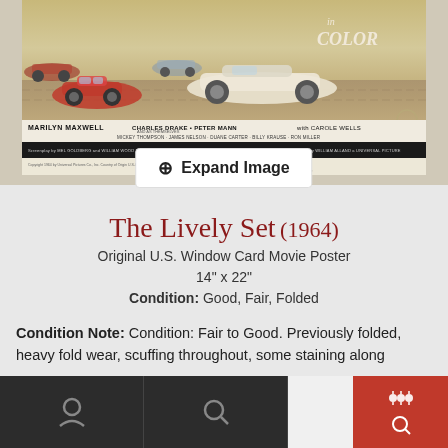[Figure (photo): Movie poster for 'The Lively Set' (1964) showing racing cars with cast names including Marilyn Maxwell, Charles Drake, Peter Mann, Carole Wells. Shows cars on a racetrack with 'in COLOR' text. Has a dark credits bar and copyright information at bottom.]
Expand Image
The Lively Set (1964)
Original U.S. Window Card Movie Poster
14" x 22"
Condition: Good, Fair, Folded
Condition Note: Condition: Fair to Good. Previously folded, heavy fold wear, scuffing throughout, some staining along